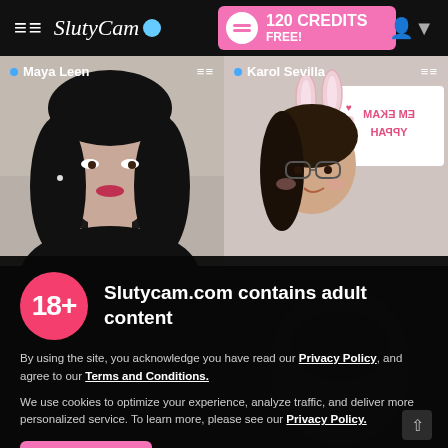SlutyCam — 120 CREDITS FREE!
[Figure (screenshot): Two live cam thumbnails: left shows Maya Leen (woman with dark hair), right shows Karol Sevilla (woman with bunny ears and glasses in front of a 'MAKE ME HAPPY' sign)]
Slutycam.com contains adult content
By using the site, you acknowledge you have read our Privacy Policy, and agree to our Terms and Conditions.
We use cookies to optimize your experience, analyze traffic, and deliver more personalized service. To learn more, please see our Privacy Policy.
I AGREE